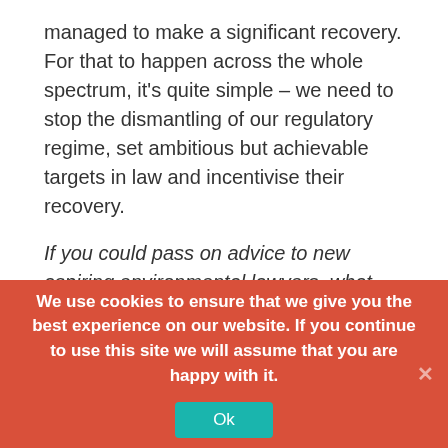managed to make a significant recovery. For that to happen across the whole spectrum, it's quite simple – we need to stop the dismantling of our regulatory regime, set ambitious but achievable targets in law and incentivise their recovery.
If you could pass on advice to new aspiring environmental lawyers, what would it be?
Never give up. In the words of Desmond Dekker – you can get it if you really want!
We use cookies to ensure that we give you the best experience on our website. If you continue to use this site we will assume that you are happy with it.